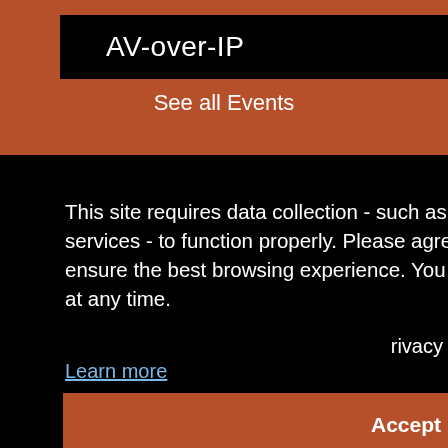AV-over-IP
See all Events
This site requires data collection - such as cookies and third party services - to function properly. Please agree to our privacy policy to ensure the best browsing experience. You can change your preferences at any time.
rivacy
Learn more
Accept